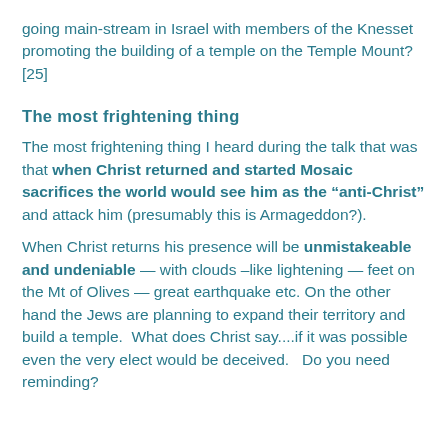going main-stream in Israel with members of the Knesset promoting the building of a temple on the Temple Mount?[25]
The most frightening thing
The most frightening thing I heard during the talk that was that when Christ returned and started Mosaic sacrifices the world would see him as the “anti-Christ” and attack him (presumably this is Armageddon?).
When Christ returns his presence will be unmistakeable and undeniable — with clouds –like lightening — feet on the Mt of Olives — great earthquake etc. On the other hand the Jews are planning to expand their territory and build a temple.  What does Christ say....if it was possible even the very elect would be deceived.   Do you need reminding?